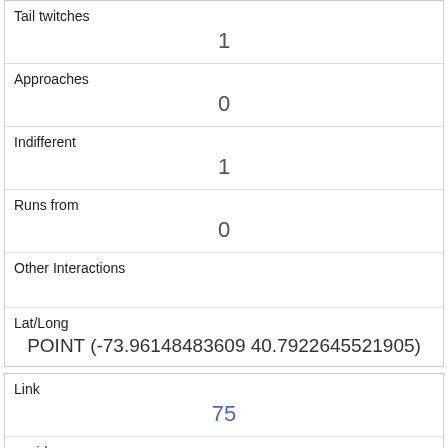| Tail twitches | 1 |
| Approaches | 0 |
| Indifferent | 1 |
| Runs from | 0 |
| Other Interactions |  |
| Lat/Long | POINT (-73.96148483609 40.7922645521905) |
| Link | 75 |
| rowid | 75 |
| longitude | -73.9667114027214 |
| latitude |  |